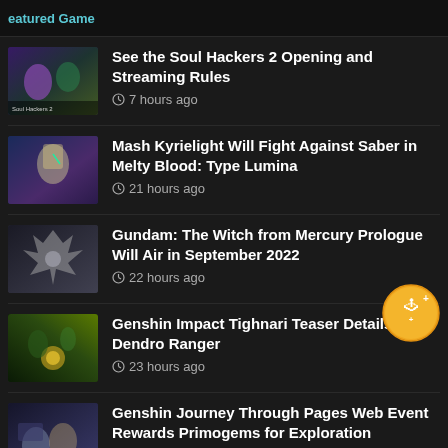eatured Game
See the Soul Hackers 2 Opening and Streaming Rules
7 hours ago
Mash Kyrielight Will Fight Against Saber in Melty Blood: Type Lumina
21 hours ago
Gundam: The Witch from Mercury Prologue Will Air in September 2022
22 hours ago
Genshin Impact Tighnari Teaser Details the Dendro Ranger
23 hours ago
Genshin Journey Through Pages Web Event Rewards Primogems for Exploration